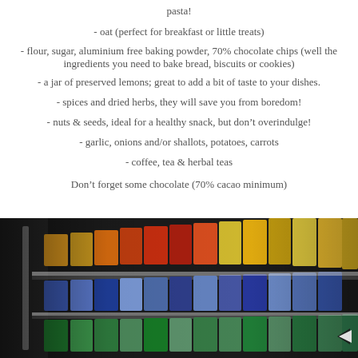pasta!
- oat (perfect for breakfast or little treats)
- flour, sugar, aluminium free baking powder, 70% chocolate chips (well the ingredients you need to bake bread, biscuits or cookies)
- a jar of preserved lemons; great to add a bit of taste to your dishes.
- spices and dried herbs, they will save you from boredom!
- nuts & seeds, ideal for a healthy snack, but don’t overindulge!
- garlic, onions and/or shallots, potatoes, carrots
- coffee, tea & herbal teas
Don’t forget some chocolate (70% cacao minimum)
[Figure (photo): Photo of grocery store shelves stocked with colorful packaged products, viewed at an angle. A dark arrow/navigation icon appears in the bottom right corner.]